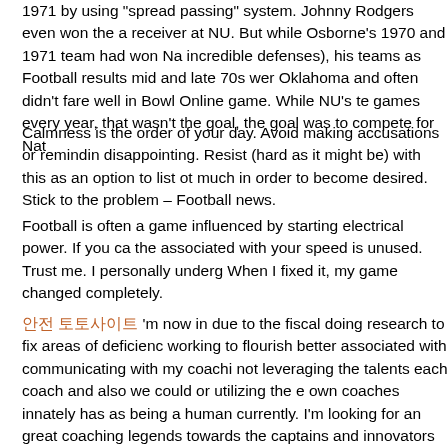1971 by using "spread passing" system. Johnny Rodgers even won the a receiver at NU. But while Osborne's 1970 and 1971 team had won Na incredible defenses), his teams as Football results mid and late 70s we Oklahoma and often didn't fare well in Bowl Online game. While NU's te games every year, that wasn't the goal, the goal was to compete for Nat
Calmness is the order of your day. Avoid making accusations or remindi disappointing. Resist (hard as it might be) with this as an option to list o much in order to become desired. Stick to the problem – Football news.
Football is often a game influenced by starting electrical power. If you ca the associated with your speed is unused. Trust me. I personally underg When I fixed it, my game changed completely.
안전 토토사이트 'm now in due to the fiscal doing research to fix areas of deficienc working to flourish better associated with communicating with my coachi not leveraging the talents each coach and also we could or utilizing the own coaches innately has as being a human currently. I'm looking for an great coaching legends towards the captains and innovators of yankee b too much on our coordinators to do all necessary reads, adjustments an converter should have a more effective and efficient way carrying out thi today.